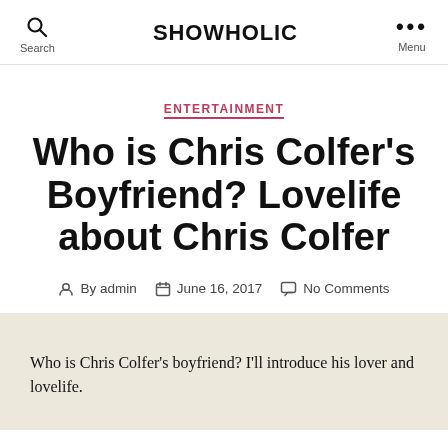SHOWHOLIC
ENTERTAINMENT
Who is Chris Colfer's Boyfriend? Lovelife about Chris Colfer
By admin  June 16, 2017  No Comments
Who is Chris Colfer’s boyfriend? I’ll introduce his lover and lovelife.